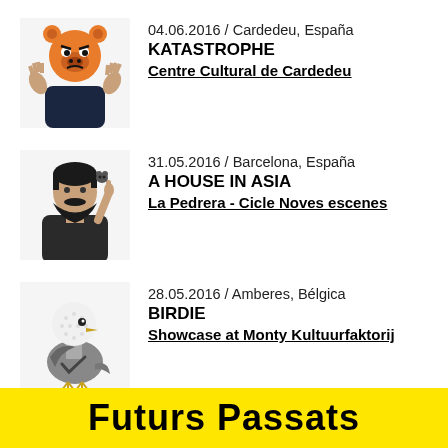04.06.2016 / Cardedeu, España
KATASTROPHE
Centre Cultural de Cardedeu
31.05.2016 / Barcelona, España
A HOUSE IN ASIA
La Pedrera - Cicle Noves escenes
28.05.2016 / Amberes, Bélgica
BIRDIE
Showcase at Monty Kultuurfaktorij
Futurs Passats